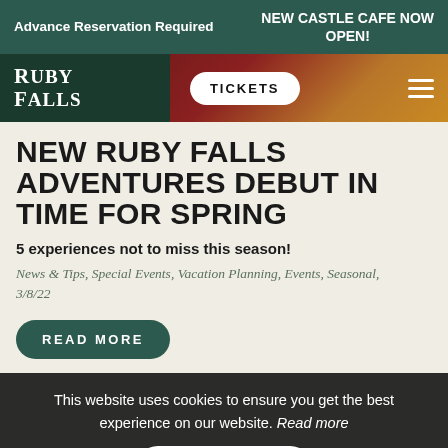Advance Reservation Required | NEW CASTLE CAFE NOW OPEN!
[Figure (screenshot): Ruby Falls logo and navigation bar with dark green background, Tickets button, and hamburger menu icon]
NEW RUBY FALLS ADVENTURES DEBUT IN TIME FOR SPRING
5 experiences not to miss this season!
News & Tips, Special Events, Vacation Planning, Events, Seasonal, 3/8/22
READ MORE
This website uses cookies to ensure you get the best experience on our website. Read more
Accept →